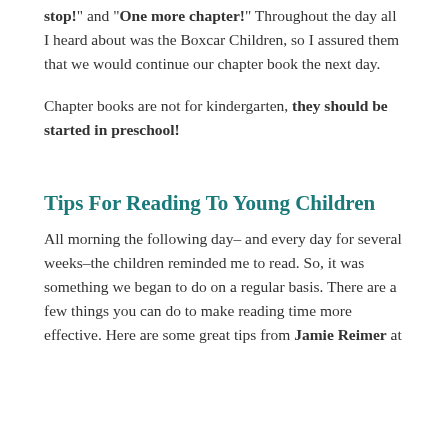stop!" and "One more chapter!" Throughout the day all I heard about was the Boxcar Children, so I assured them that we would continue our chapter book the next day.
Chapter books are not for kindergarten, they should be started in preschool!
Tips For Reading To Young Children
All morning the following day– and every day for several weeks–the children reminded me to read. So, it was something we began to do on a regular basis. There are a few things you can do to make reading time more effective. Here are some great tips from Jamie Reimer at